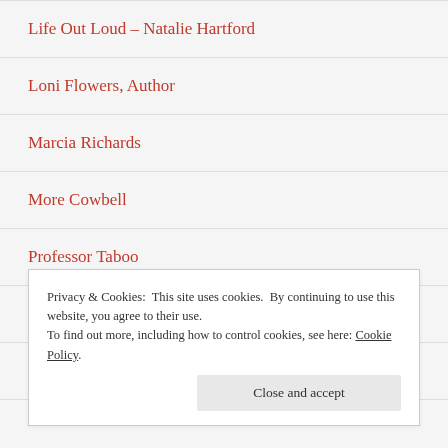Life Out Loud – Natalie Hartford
Loni Flowers, Author
Marcia Richards
More Cowbell
Professor Taboo
Ramblings From A Mum
Ray's Blog
Privacy & Cookies: This site uses cookies. By continuing to use this website, you agree to their use. To find out more, including how to control cookies, see here: Cookie Policy